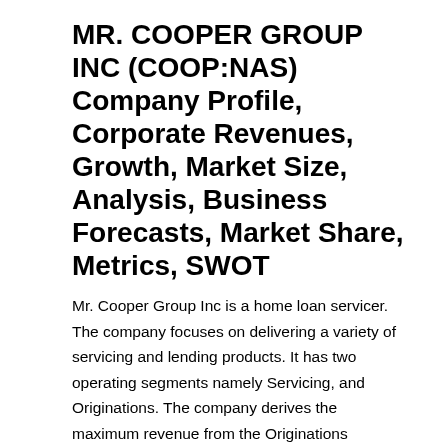MR. COOPER GROUP INC (COOP:NAS) Company Profile, Corporate Revenues, Growth, Market Size, Analysis, Business Forecasts, Market Share, Metrics, SWOT
Mr. Cooper Group Inc is a home loan servicer. The company focuses on delivering a variety of servicing and lending products. It has two operating segments namely Servicing, and Originations. The company derives the maximum revenue from the Originations segment. The Originations segment